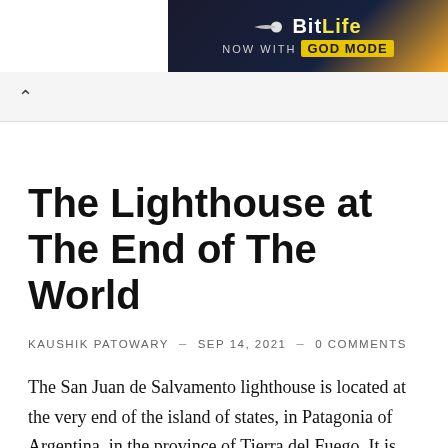[Figure (other): BitLife advertisement banner showing logo with sperm icon, text 'BitLife NOW WITH GOD MODE' on dark background with orange accent]
^
The Lighthouse at The End of The World
KAUSHIK PATOWARY – SEP 14, 2021 – 0 COMMENTS
The San Juan de Salvamento lighthouse is located at the very end of the island of states, in Patagonia of Argentina, in the province of Tierra del Fuego. It is